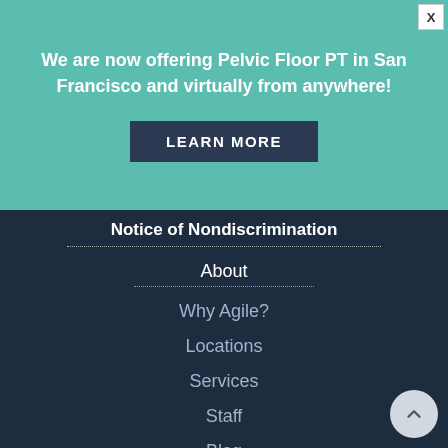We are now offering Pelvic Floor PT in San Francisco and virtually from anywhere!
LEARN MORE
X
Notice of Nondiscrimination
About
Why Agile?
Locations
Services
Staff
Blog
Patients